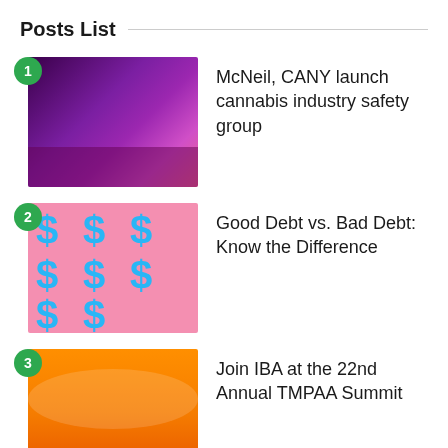Posts List
McNeil, CANY launch cannabis industry safety group
Good Debt vs. Bad Debt: Know the Difference
Join IBA at the 22nd Annual TMPAA Summit
Categories